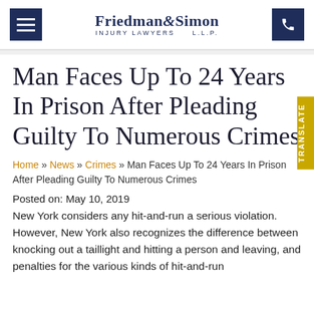Friedman & Simon INJURY LAWYERS L.L.P.
Man Faces Up To 24 Years In Prison After Pleading Guilty To Numerous Crimes
Home » News » Crimes » Man Faces Up To 24 Years In Prison After Pleading Guilty To Numerous Crimes
Posted on: May 10, 2019
New York considers any hit-and-run a serious violation. However, New York also recognizes the difference between knocking out a taillight and hitting a person and leaving, and penalties for the various kinds of hit-and-run